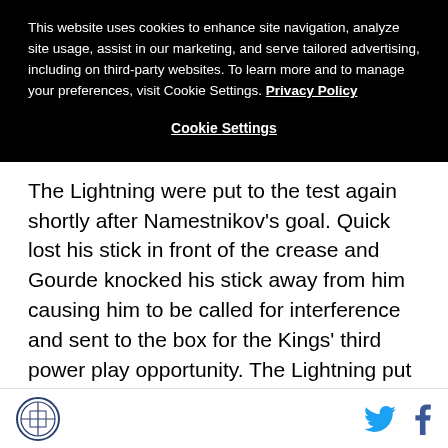This website uses cookies to enhance site navigation, analyze site usage, assist in our marketing, and serve tailored advertising, including on third-party websites. To learn more and to manage your preferences, visit Cookie Settings. Privacy Policy
Cookie Settings
The Lightning were put to the test again shortly after Namestnikov’s goal. Quick lost his stick in front of the crease and Gourde knocked his stick away from him causing him to be called for interference and sent to the box for the Kings’ third power play opportunity. The Lightning put in a solid effort while not playing too aggressively on the penalty kill and limited the Kings to a single shot on goal.
Logo | Twitter | Facebook